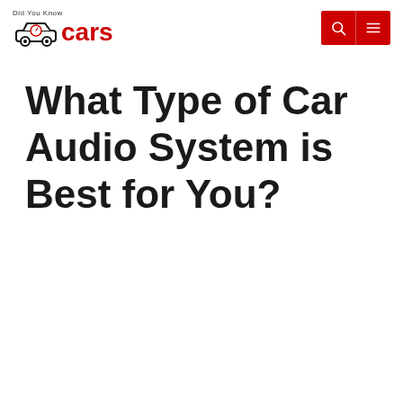Did You Know Cars
What Type of Car Audio System is Best for You?